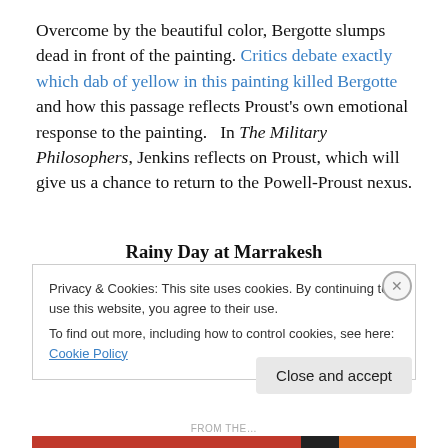Overcome by the beautiful color, Bergotte slumps dead in front of the painting. Critics debate exactly which dab of yellow in this painting killed Bergotte and how this passage reflects Proust's own emotional response to the painting.   In The Military Philosophers, Jenkins reflects on Proust, which will give us a chance to return to the Powell-Proust nexus.
Rainy Day at Marrakesh
Privacy & Cookies: This site uses cookies. By continuing to use this website, you agree to their use.
To find out more, including how to control cookies, see here: Cookie Policy
Close and accept